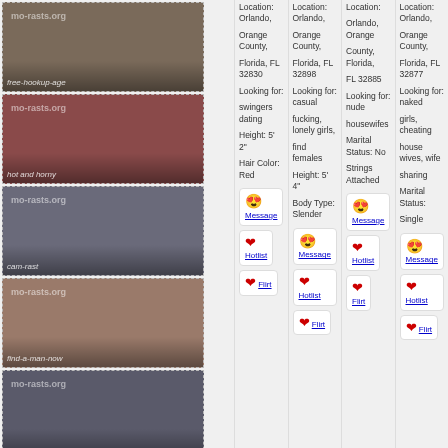[Figure (photo): Profile photo column with 5 blurred/watermarked female profile photos from mo-rasts.org adult dating site]
Location: Orlando, Orange County, Florida, FL 32830
Looking for: swingers dating
Height: 5' 2"
Hair Color: Red
Location: Orlando, Orange County, Florida, FL 32898
Looking for: casual fucking, lonely girls, find females
Height: 5' 4"
Body Type: Slender
Location: Orlando, Orange County, Florida, FL 32885
Looking for: nude housewifes
Marital Status: No Strings Attached
Location: Orlando, Orange County, Florida, FL 32877
Looking for: naked girls, cheating house wives, wife sharing
Marital Status: Single